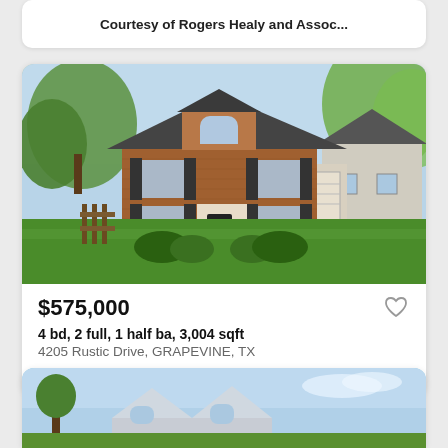Courtesy of Rogers Healy and Assoc...
[Figure (photo): Two-story brick house with dark shutters, front yard with green lawn and landscaping, attached garage on right side]
$575,000
4 bd, 2 full, 1 half ba, 3,004 sqft
4205 Rustic Drive, GRAPEVINE, TX
Courtesy of Keller Williams Realty
[Figure (photo): Partial view of another house listing below, showing roofline and sky]